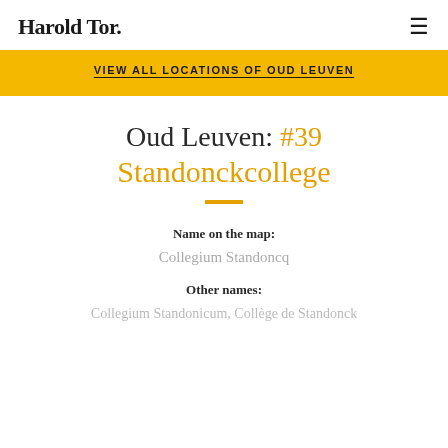Harold Tor.
VIEW ALL LOCATIONS OF OUD LEUVEN
Oud Leuven: #39 Standonckcollege
Name on the map:
Collegium Standoncq
Other names:
Collegium Standonicum, Collège de Standonck